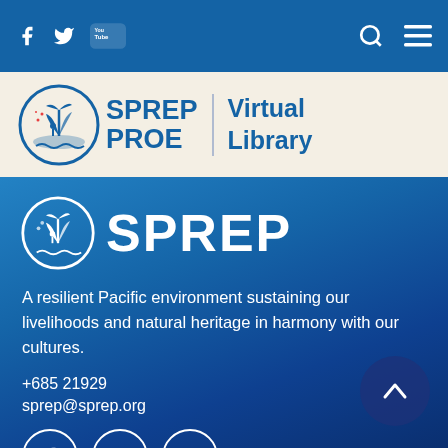Navigation bar with Facebook, Twitter, YouTube, Search, and Menu icons
[Figure (logo): SPREP PROE Virtual Library logo with circular island emblem]
[Figure (logo): SPREP large logo with circular island emblem in white on blue background]
A resilient Pacific environment sustaining our livelihoods and natural heritage in harmony with our cultures.
+685 21929
sprep@sprep.org
[Figure (infographic): Social media icons: Facebook, YouTube, Twitter in white circle outlines]